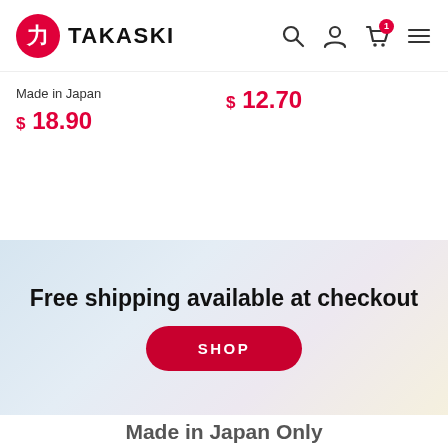TAKASKI
Made in Japan
$ 18.90
$ 12.70
Free shipping available at checkout
SHOP
Made in Japan Only